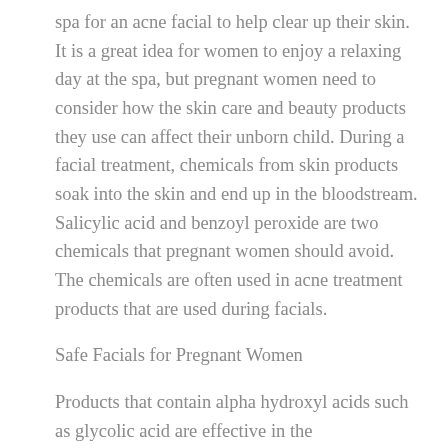spa for an acne facial to help clear up their skin. It is a great idea for women to enjoy a relaxing day at the spa, but pregnant women need to consider how the skin care and beauty products they use can affect their unborn child. During a facial treatment, chemicals from skin products soak into the skin and end up in the bloodstream. Salicylic acid and benzoyl peroxide are two chemicals that pregnant women should avoid. The chemicals are often used in acne treatment products that are used during facials.
Safe Facials for Pregnant Women
Products that contain alpha hydroxyl acids such as glycolic acid are effective in the